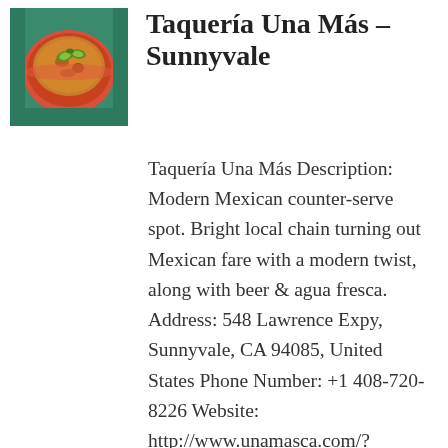[Figure (photo): Photo of a Mexican soup/stew dish in a red bowl with avocado and garnishes, on a teal/green tray]
Taquería Una Más – Sunnyvale
Taquería Una Más Description: Modern Mexican counter-serve spot. Bright local chain turning out Mexican fare with a modern twist, along with beer & agua fresca. Address: 548 Lawrence Expy, Sunnyvale, CA 94085, United States Phone Number: +1 408-720-8226 Website: http://www.unamasca.com/?utm_source=gmb&utm_mediu